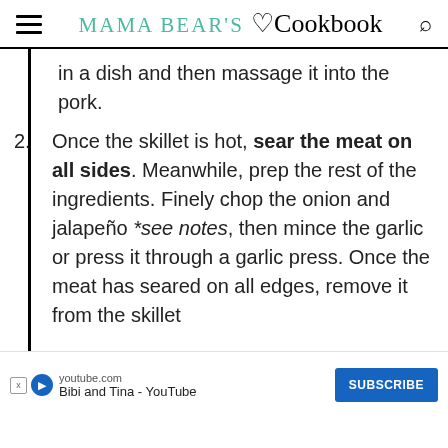Mama Bear's Cookbook
in a dish and then massage it into the pork.
2. Once the skillet is hot, sear the meat on all sides. Meanwhile, prep the rest of the ingredients. Finely chop the onion and jalapeño *see notes, then mince the garlic or press it through a garlic press. Once the meat has seared on all edges, remove it from the skillet
[Figure (screenshot): YouTube advertisement banner for 'Bibi and Tina - YouTube' with a Subscribe button]